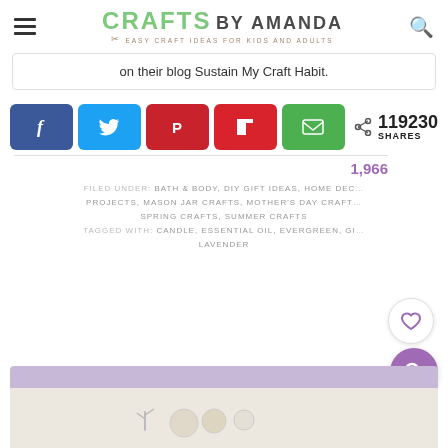CRAFTS BY AMANDA — EASY CRAFT IDEAS FOR KIDS AND ADULTS
on their blog Sustain My Craft Habit.
[Figure (infographic): Social share buttons: Facebook (blue), Twitter (cyan), Pinterest (red), Flipboard (red), Email (green), with share count 119230 SHARES]
1,966
FILED UNDER: BATH & BODY, DIY GIFT IDEAS, HOME DECOR PROJECTS, MASON JAR CRAFTS, MOTHER'S DAY CRAFTS, SPRING CRAFTS, SUMMER CRAFTS TAGGED WITH: CANDLE, ESSENTIAL OIL, EVERGREEN, GI... LAVENDER
[Figure (photo): Partial view of a lavender/purple framed photo showing mason jars and craft supplies on a white wooden surface]